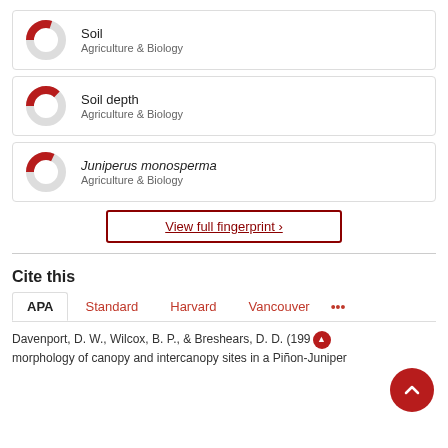[Figure (donut-chart): Donut chart for Soil, Agriculture & Biology keyword fingerprint item]
Soil
Agriculture & Biology
[Figure (donut-chart): Donut chart for Soil depth, Agriculture & Biology keyword fingerprint item]
Soil depth
Agriculture & Biology
[Figure (donut-chart): Donut chart for Juniperus monosperma, Agriculture & Biology keyword fingerprint item]
Juniperus monosperma
Agriculture & Biology
View full fingerprint ›
Cite this
APA | Standard | Harvard | Vancouver | ...
Davenport, D. W., Wilcox, B. P., & Breshears, D. D. (1996... morphology of canopy and intercanopy sites in a Piñon-Juniper